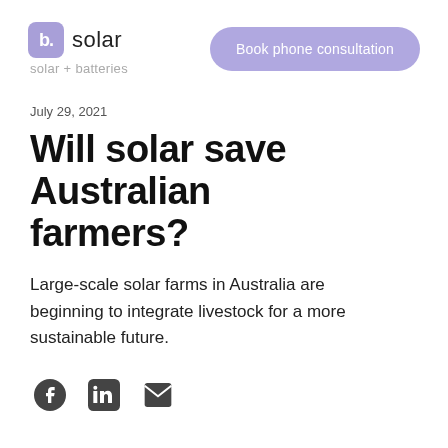b. solar — solar + batteries | Book phone consultation
July 29, 2021
Will solar save Australian farmers?
Large-scale solar farms in Australia are beginning to integrate livestock for a more sustainable future.
[Figure (other): Social sharing icons: Facebook, LinkedIn, Email]